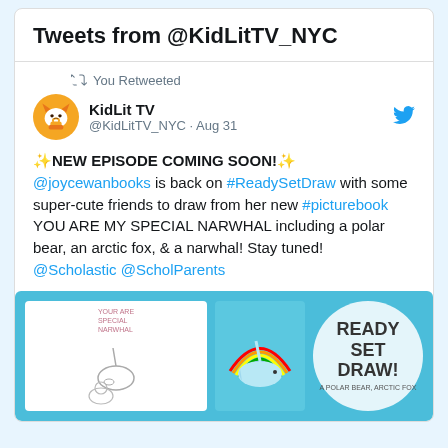Tweets from @KidLitTV_NYC
You Retweeted
KidLit TV
@KidLitTV_NYC · Aug 31
✨NEW EPISODE COMING SOON!✨ @joycewanbooks is back on #ReadySetDraw with some super-cute friends to draw from her new #picturebook YOU ARE MY SPECIAL NARWHAL including a polar bear, an arctic fox, & a narwhal! Stay tuned! @Scholastic @ScholParents
[Figure (screenshot): Tweet image showing a Ready Set Draw promotional graphic with drawings of Arctic animals (polar bear, arctic fox, narwhal) on a blue background, with a circular white logo reading READY SET DRAW.]